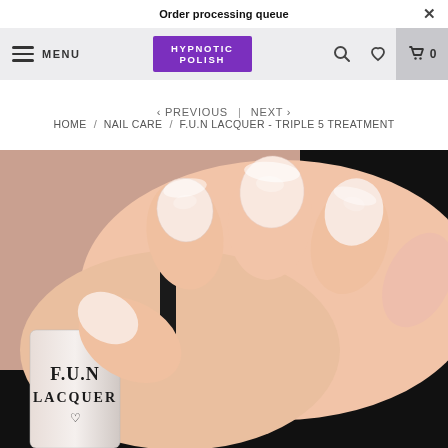Order processing queue
MENU | HYPNOTIC POLISH | 0
< PREVIOUS | NEXT >
HOME / NAIL CARE / F.U.N LACQUER - TRIPLE 5 TREATMENT
[Figure (photo): Close-up photo of well-manicured nails with sheer pink polish, with a F.U.N LACQUER bottle in the foreground]